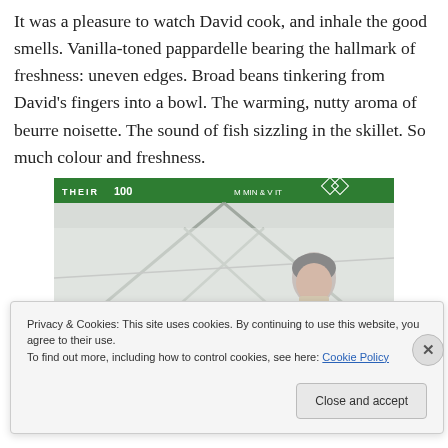It was a pleasure to watch David cook, and inhale the good smells. Vanilla-toned pappardelle bearing the hallmark of freshness: uneven edges. Broad beans tinkering from David's fingers into a bowl. The warming, nutty aroma of beurre noisette. The sound of fish sizzling in the skillet. So much colour and freshness.
[Figure (photo): A man with grey hair holding something in a white tent/marquee setting with a green banner visible at the top reading partial text including 'THEIR'. Tent frame poles are visible in the background.]
Privacy & Cookies: This site uses cookies. By continuing to use this website, you agree to their use.
To find out more, including how to control cookies, see here: Cookie Policy
Close and accept